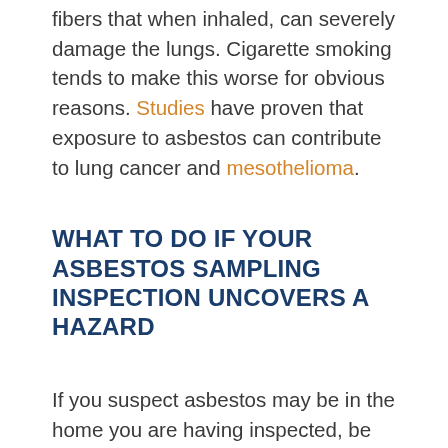fibers that when inhaled, can severely damage the lungs. Cigarette smoking tends to make this worse for obvious reasons. Studies have proven that exposure to asbestos can contribute to lung cancer and mesothelioma.
WHAT TO DO IF YOUR ASBESTOS SAMPLING INSPECTION UNCOVERS A HAZARD
If you suspect asbestos may be in the home you are having inspected, be sure to mention this to your Solid Rock Home